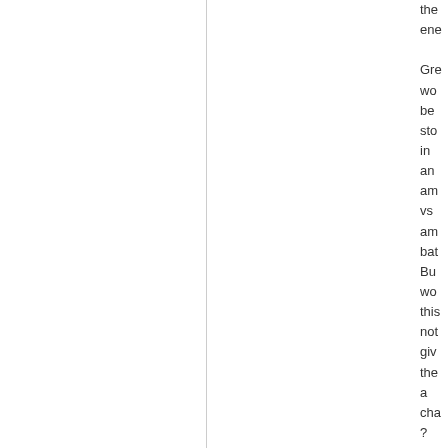the ene

Gre wo be sto in an am vs am bat Bu wo this not giv the a cha?

Of cou